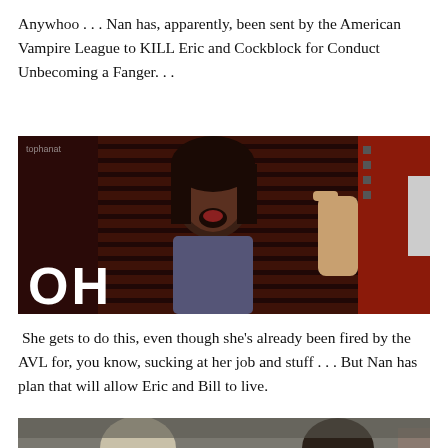Anywhoo . . . Nan has, apparently, been sent by the American Vampire League to KILL Eric and Cockblock for Conduct Unbecoming a Fanger. . .
[Figure (photo): Screenshot of a TV show character (woman with open mouth, shocked expression) in a dark reddish scene with the subtitle text 'OH' in large white bold letters at the bottom left. A watermark 'tophanat' visible at top left.]
She gets to do this, even though she's already been fired by the AVL for, you know, sucking at her job and stuff . . . But Nan has plan that will allow Eric and Bill to live.
[Figure (photo): Partial screenshot of a TV show scene showing the tops of two characters' heads, partially cropped at the bottom of the page.]